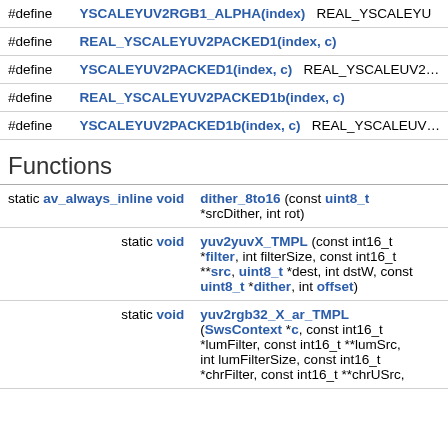|  |  |
| --- | --- |
| #define | YSCALEYUV2RGB1_ALPHA(index)   REAL_YSCALEYU… |
| #define | REAL_YSCALEYUV2PACKED1(index, c) |
| #define | YSCALEYUV2PACKED1(index, c)   REAL_YSCALEUV2… |
| #define | REAL_YSCALEYUV2PACKED1b(index, c) |
| #define | YSCALEYUV2PACKED1b(index, c)   REAL_YSCALEUV… |
Functions
|  |  |
| --- | --- |
| static av_always_inline void | dither_8to16 (const uint8_t *srcDither, int rot) |
| static void | yuv2yuvX_TMPL (const int16_t *filter, int filterSize, const int16_t **src, uint8_t *dest, int dstW, const uint8_t *dither, int offset) |
| static void | yuv2rgb32_X_ar_TMPL (SwsContext *c, const int16_t *lumFilter, const int16_t **lumSrc, int lumFilterSize, const int16_t *chrFilter, const int16_t **chrUSrc, |